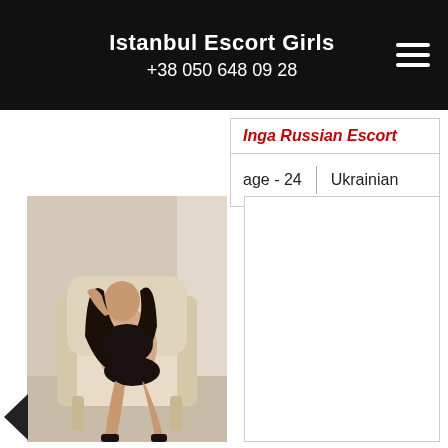Istanbul Escort Girls
+38 050 648 09 28
Inga Russian Escort
| age - 24 | Ukrainian |
| --- | --- |
[Figure (photo): Young woman with dark hair seated in a cream armchair, wearing black lingerie and black heels]
[Figure (photo): Empty white card/panel]